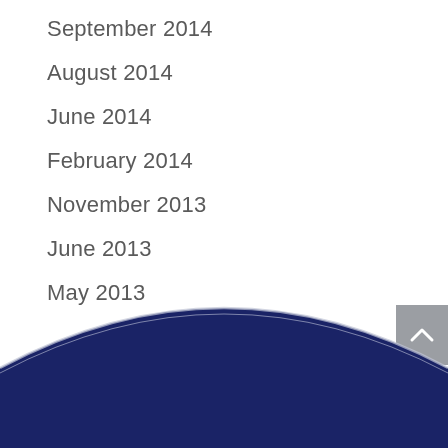September 2014
August 2014
June 2014
February 2014
November 2013
June 2013
May 2013
[Figure (illustration): Bottom decorative wave shape in dark navy blue with a light gray/white curved edge, forming a wave pattern at the bottom of the page]